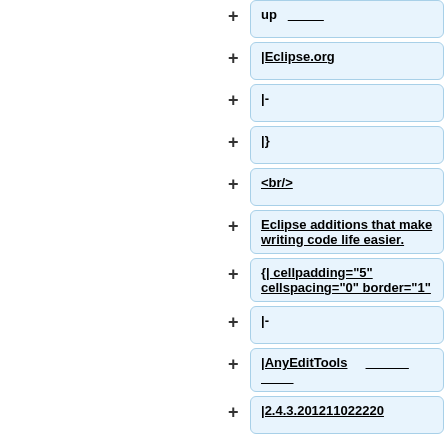up  ___________
|Eclipse.org
|-
|}
<br/>
Eclipse additions that make writing code life easier.
{| cellpadding="5" cellspacing="0" border="1"
|-
|AnyEditTools  _____________  __________
|2.4.3.201211022220